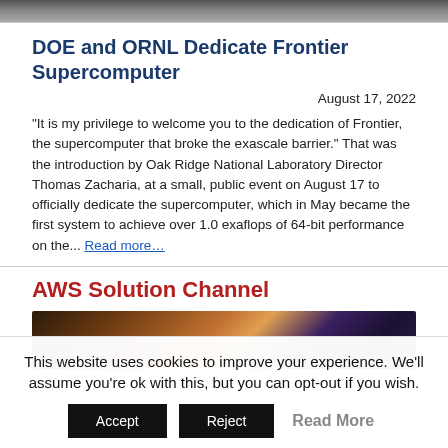[Figure (photo): Top banner image, dark gray tones, partial view of a supercomputer or facility]
DOE and ORNL Dedicate Frontier Supercomputer
August 17, 2022
“It is my privilege to welcome you to the dedication of Frontier, the supercomputer that broke the exascale barrier.” That was the introduction by Oak Ridge National Laboratory Director Thomas Zacharia, at a small, public event on August 17 to officially dedicate the supercomputer, which in May became the first system to achieve over 1.0 exaflops of 64-bit performance on the... Read more…
AWS Solution Channel
[Figure (photo): AWS Solution Channel banner image with warm orange glow and blue/purple digital network overlay on dark background]
This website uses cookies to improve your experience. We’ll assume you’re ok with this, but you can opt-out if you wish.